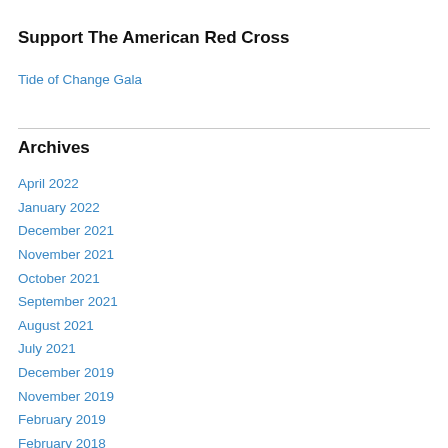Support The American Red Cross
Tide of Change Gala
Archives
April 2022
January 2022
December 2021
November 2021
October 2021
September 2021
August 2021
July 2021
December 2019
November 2019
February 2019
February 2018